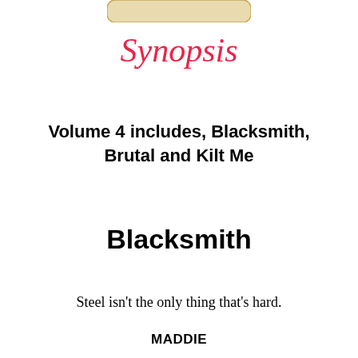[Figure (illustration): Partial view of a book cover or decorative element at the top of the page, showing a rounded rectangular shape in cream/beige color]
Synopsis
Volume 4 includes, Blacksmith, Brutal and Kilt Me
Blacksmith
Steel isn't the only thing that's hard.
MADDIE